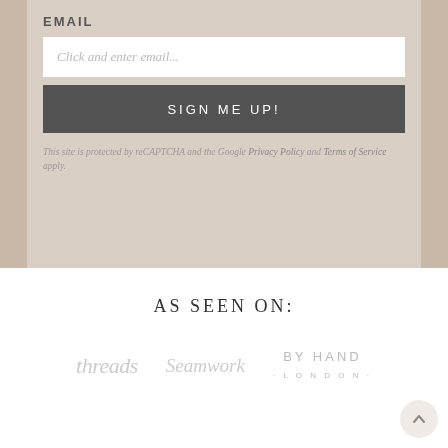EMAIL
Click and enter email...
SIGN ME UP!
This site is protected by reCAPTCHA and the Google Privacy Policy and Terms of Service apply.
AS SEEN ON:
[Figure (logo): threads logo in light grey italic serif font]
[Figure (logo): Seamwork logo in light grey italic script font]
[Figure (logo): BY HAND · LONDON · logo in light grey spaced sans-serif]